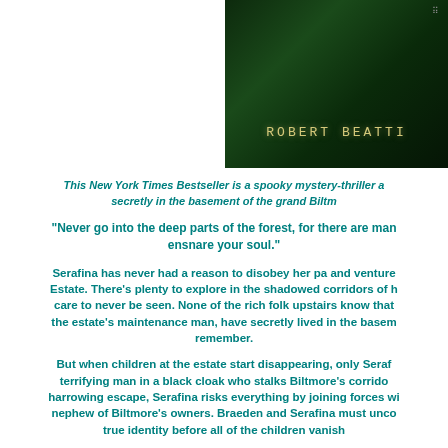[Figure (illustration): Book cover image with dark green forest background and author name 'ROBERT BEATTI' in golden/yellow stylized text]
This New York Times Bestseller is a spooky mystery-thriller a secretly in the basement of the grand Biltm
“Never go into the deep parts of the forest, for there are man ensnare your soul.”
Serafina has never had a reason to disobey her pa and venture Estate. There’s plenty to explore in the shadowed corridors of h care to never be seen. None of the rich folk upstairs know that the estate’s maintenance man, have secretly lived in the basem remember.
But when children at the estate start disappearing, only Seraf terrifying man in a black cloak who stalks Biltmore’s corrido harrowing escape, Serafina risks everything by joining forces wi nephew of Biltmore’s owners. Braeden and Serafina must unco true identity before all of the children vanish